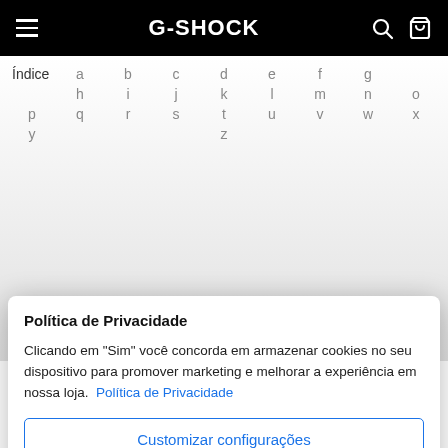G-SHOCK
| Índice | a | b | c | d | e | f | g |
| --- | --- | --- | --- | --- | --- | --- | --- |
| h | i | j | k | l | m | n | o | p |
| q | r | s | t | u | v | w | x | y |
|  |  |  | z |  |  |  |  |  |
D
Política de Privacidade
Clicando em "Sim" você concorda em armazenar cookies no seu dispositivo para promover marketing e melhorar a experiência em nossa loja.  Política de Privacidade
Customizar configurações
Permitir todos